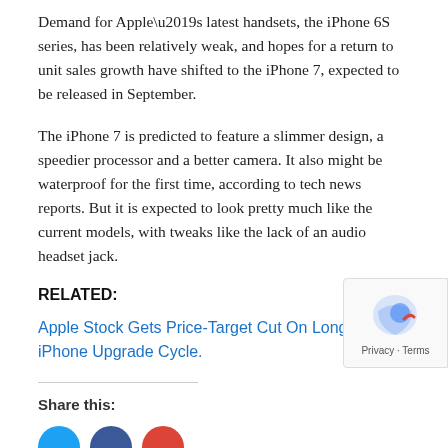Demand for Apple’s latest handsets, the iPhone 6S series, has been relatively weak, and hopes for a return to unit sales growth have shifted to the iPhone 7, expected to be released in September.
The iPhone 7 is predicted to feature a slimmer design, a speedier processor and a better camera. It also might be waterproof for the first time, according to tech news reports. But it is expected to look pretty much like the current models, with tweaks like the lack of an audio headset jack.
RELATED:
Apple Stock Gets Price-Target Cut On Longer iPhone Upgrade Cycle.
Share this: